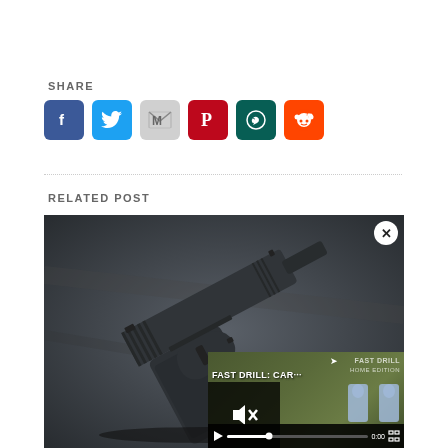SHARE
[Figure (infographic): Social media share buttons: Facebook (blue), Twitter (light blue), Gmail (gray M), Pinterest (dark red), WhatsApp (dark green), Reddit (orange)]
RELATED POST
[Figure (photo): Close-up photo of a black semi-automatic handgun on a dark gray surface, with a video overlay in the bottom right showing 'FAST DRILL: CAR...' title, mute button, play button, progress bar showing 0:00, and fullscreen controls. A close (x) button is in the top right of the overlay.]